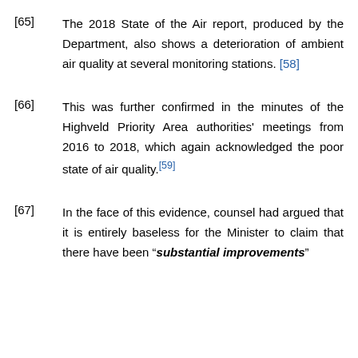[65] The 2018 State of the Air report, produced by the Department, also shows a deterioration of ambient air quality at several monitoring stations. [58]
[66] This was further confirmed in the minutes of the Highveld Priority Area authorities' meetings from 2016 to 2018, which again acknowledged the poor state of air quality.[59]
[67] In the face of this evidence, counsel had argued that it is entirely baseless for the Minister to claim that there have been "substantial improvements"